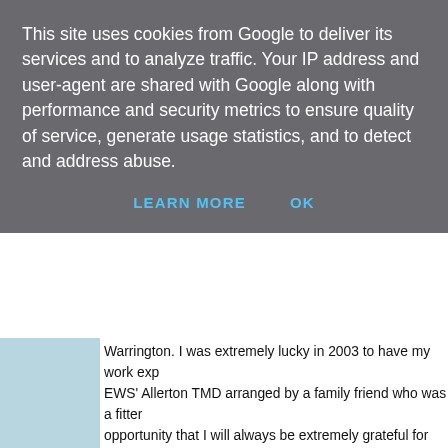This site uses cookies from Google to deliver its services and to analyze traffic. Your IP address and user-agent are shared with Google along with performance and security metrics to ensure quality of service, generate usage statistics, and to detect and address abuse.
LEARN MORE   OK
Warrington. I was extremely lucky in 2003 to have my work exp EWS' Allerton TMD arranged by a family friend who was a fitter opportunity that I will always be extremely grateful for and was in work I have ever had. At the time, 08737 was outstationed at with fellow Trafford Park resident 09020, was due an exam. For (A+B) these were done out 'in the field' so again I went along to Trafford Park.  At this point the loco was had its RFD branding o black paint on one side and was starting to look scruffy. But on nothing wrong with this workhorse. In the years afterwards it ma when due bigger repairs. EWS had a major shunter cull in 2004 the official/technical reason for storage was an 'Oil Leak'. The lo Allerton for months, but was never touched for parts as such. It Allerton (similar to how Crewe are using shunters at the momer stood outside out of use for months on end, albeit with minor fa quick repairs and to be used as Depot Pilots. 08737 is an exam 08802,08925 and 08946 to mention over the years. This was th see use as pilot. In late 2005, a major overhaul was sanctioned